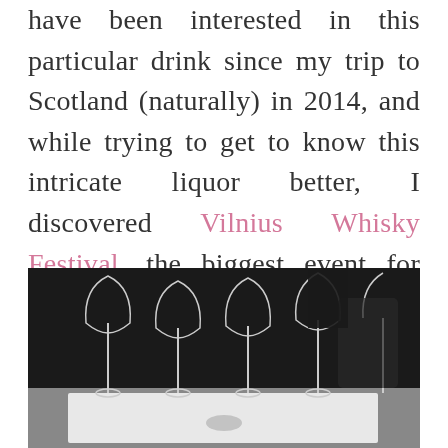have been interested in this particular drink since my trip to Scotland (naturally) in 2014, and while trying to get to know this intricate liquor better, I discovered Vilnius Whisky Festival, the biggest event for whisky lovers in the Baltic counties.
[Figure (photo): Black and white photograph of several tall, thin whisky tasting glasses arranged on a white tasting mat/menu on a table, with a dark background.]